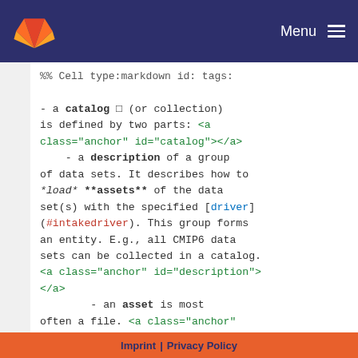Menu
%% Cell type:markdown id: tags:

- a **catalog** □ (or collection) is defined by two parts: <a class="anchor" id="catalog"></a>
    - a **description** of a group of data sets. It describes how to *load* **assets** of the data set(s) with the specified [driver](#intakedriver). This group forms an entity. E.g., all CMIP6 data sets can be collected in a catalog. <a class="anchor" id="description"></a>
        - an **asset** is most often a file. <a class="anchor" id="asset"></a>
    - a **collection** of all [assets](#asset) of the data
Imprint | Privacy Policy